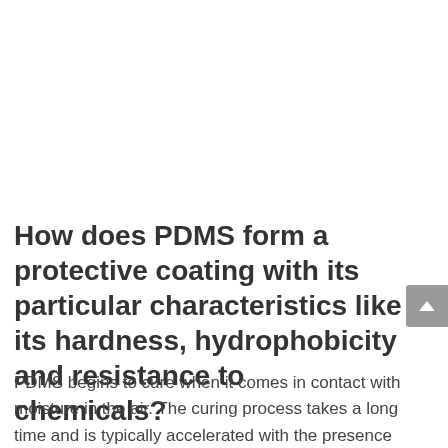How does PDMS form a protective coating with its particular characteristics like its hardness, hydrophobicity and resistance to chemicals?
PDMS begins to cure when it comes in contact with moisture in the air. The curing process takes a long time and is typically accelerated with the presence of catalysts. Usually, the ceramic coating is dry to touch within hours but the full curing